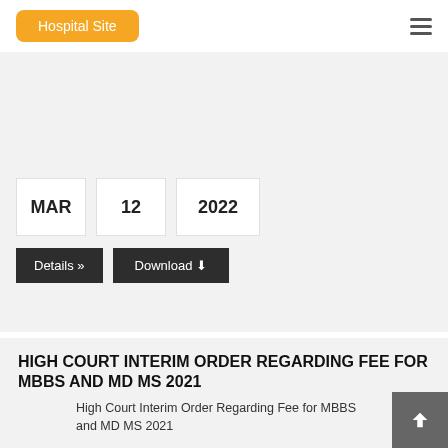Hospital Site
MAR  12  2022
Details »  Download ⬇
HIGH COURT INTERIM ORDER REGARDING FEE FOR MBBS AND MD MS 2021
High Court Interim Order Regarding Fee for MBBS and MD MS 2021